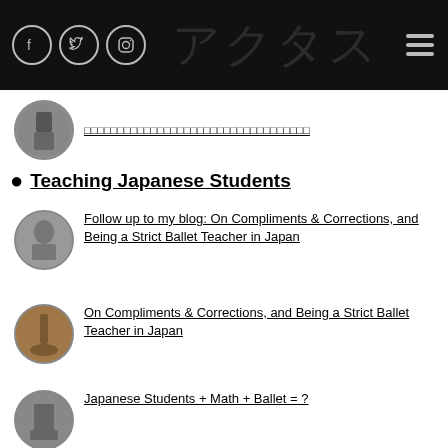アクタス
[Figure (photo): Circular avatar thumbnail showing a ballet/theater scene in black and white]
□□□□□□□□□□□□□□□□□□□□□□□□□□□□□□□□□□
Teaching Japanese Students
[Figure (photo): Circular avatar thumbnail showing a ballet scene]
Follow up to my blog: On Compliments & Corrections, and Being a Strict Ballet Teacher in Japan
[Figure (photo): Circular avatar thumbnail showing a dancer on stage]
On Compliments & Corrections, and Being a Strict Ballet Teacher in Japan
[Figure (photo): Circular avatar thumbnail showing ballet students]
Japanese Students + Math + Ballet = ?